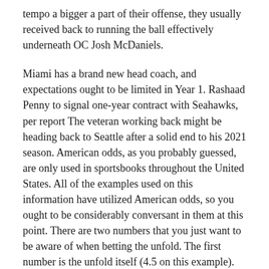tempo a bigger a part of their offense, they usually received back to running the ball effectively underneath OC Josh McDaniels.
Miami has a brand new head coach, and expectations ought to be limited in Year 1. Rashaad Penny to signal one-year contract with Seahawks, per report The veteran working back might be heading back to Seattle after a solid end to his 2021 season. American odds, as you probably guessed, are only used in sportsbooks throughout the United States. All of the examples used on this information have utilized American odds, so you ought to be considerably conversant in them at this point. There are two numbers that you just want to be aware of when betting the unfold. The first number is the unfold itself (4.5 on this example).
Check out upcoming NFL spreads and evaluate them across the highest sportsbooks in the business by selecting ‘spread’